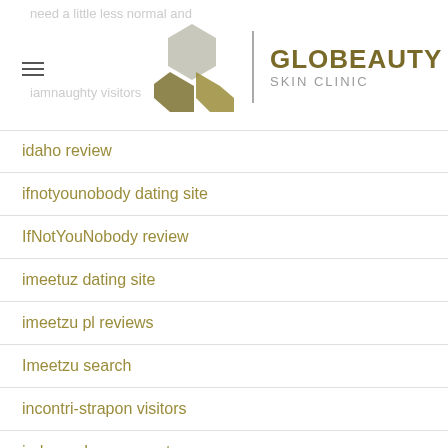Globeauty Skin Clinic
idaho review
ifnotyounobody dating site
IfNotYouNobody review
imeetuz dating site
imeetzu pl reviews
Imeetzu search
incontri-strapon visitors
independence escort
indian dating review
Indiancupid les hook up
indiancupid-overzicht Log in